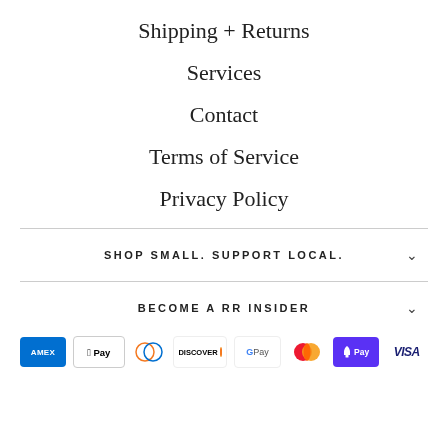Shipping + Returns
Services
Contact
Terms of Service
Privacy Policy
SHOP SMALL. SUPPORT LOCAL.
BECOME A RR INSIDER
[Figure (other): Payment method icons: American Express, Apple Pay, Diners Club, Discover, Google Pay, Mastercard, Shop Pay, Visa]